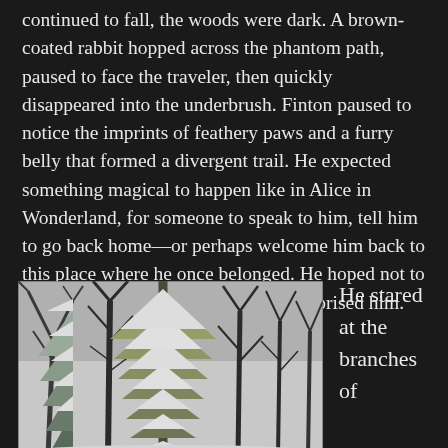continued to fall, the woods were dark. A brown-coated rabbit hopped across the phantom path, paused to face the traveler, then quickly disappeared into the underbrush. Finton paused to notice the imprints of feathery paws and a furry belly that formed a divergent trail. He expected something magical to happen like in Alice in Wonderland, for someone to speak to him, tell him to go back home—or perhaps welcome him back to this place where he once belonged. He hoped not to be scolded, but that wouldn't have surprised him.
[Figure (photo): Black and white photograph of snow-covered evergreen and bare deciduous trees in a winter forest scene]
He stared at the branches of